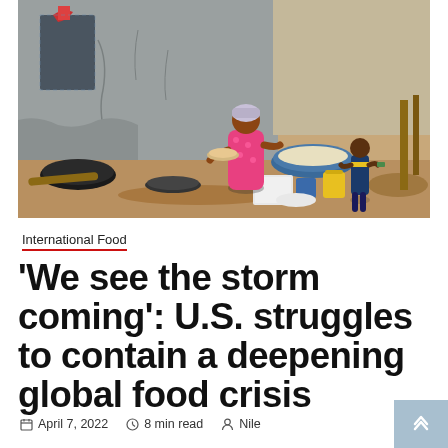[Figure (photo): A woman in a pink floral dress and head wrap prepares food outdoors beside a weathered concrete wall. Cooking pots and utensils are on the ground. A child in a blue outfit stands nearby. Dusty African setting.]
International Food
‘We see the storm coming’: U.S. struggles to contain a deepening global food crisis
April 7, 2022  8 min read  Nile